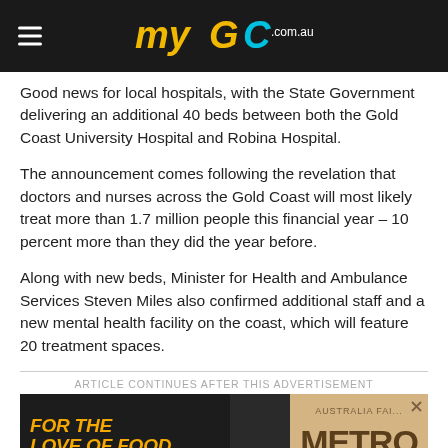myGC.com.au
Good news for local hospitals, with the State Government delivering an additional 40 beds between both the Gold Coast University Hospital and Robina Hospital.
The announcement comes following the revelation that doctors and nurses across the Gold Coast will most likely treat more than 1.7 million people this financial year – 10 percent more than they did the year before.
Along with new beds, Minister for Health and Ambulance Services Steven Miles also confirmed additional staff and a new mental health facility on the coast, which will feature 20 treatment spaces.
ARTICLE CONTINUES AFTER THIS ADVERTISEMENT
[Figure (other): Advertisement banner: FOR THE LOVE OF FOOD – Southport's No.1 foodie hub! on the left, and AUSTRALIA FAI... METRO on the right with a tan/brown background.]